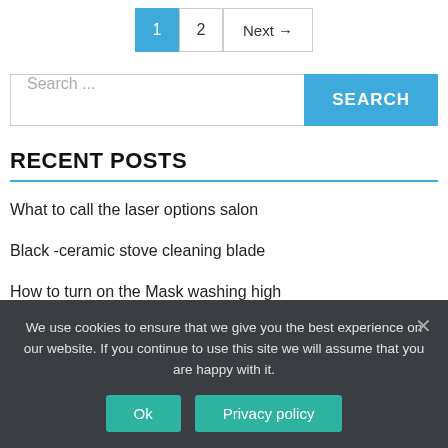Pagination: 1, 2, Next →
Search ...
RECENT POSTS
What to call the laser options salon
Black -ceramic stove cleaning blade
How to turn on the Mask washing high
We use cookies to ensure that we give you the best experience on our website. If you continue to use this site we will assume that you are happy with it.